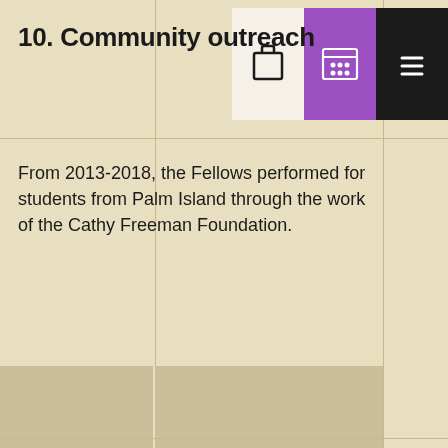10. Community outreach
From 2013-2018, the Fellows performed for students from Palm Island through the work of the Cathy Freeman Foundation.